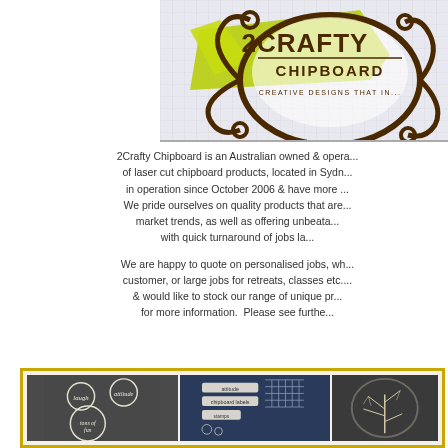[Figure (logo): 2Crafty Chipboard logo — ornate brown scrollwork frame with yellow-green ribbon accent, text reads '2CRAFTY CHIPBOARD' and 'CREATIVE DESIGNS THAT IN...' on a grid background]
2Crafty Chipboard is an Australian owned & opera... of laser cut chipboard products, located in Sydn... in operation since October 2006 & have more ... We pride ourselves on quality products that are... market trends, as well as offering unbeata... with quick turnaround of jobs la...
We are happy to quote on personalised jobs, wh... customer, or large jobs for retreats, classes etc. ... & would like to stock our range of unique pr... for more information. Please see furthe...
[Figure (photo): Three photos of chipboard products: left shows circular word chips (laugh, attitude, tons of fun) on dark background; middle shows stamped/labeled chipboard pieces on blue background; right shows decorative chipboard tree/branch design on dark background]